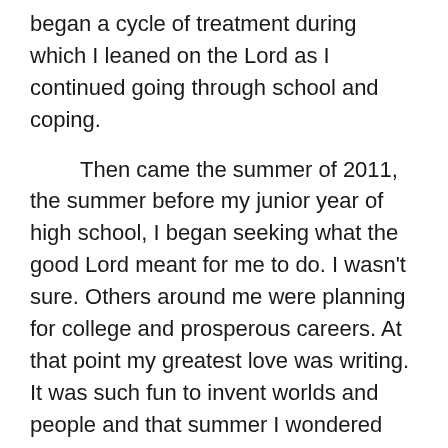began a cycle of treatment during which I leaned on the Lord as I continued going through school and coping.
Then came the summer of 2011, the summer before my junior year of high school, I began seeking what the good Lord meant for me to do. I wasn't sure. Others around me were planning for college and prosperous careers. At that point my greatest love was writing. It was such fun to invent worlds and people and that summer I wondered what would happen if I let God take hold of my pen. What if I prayed for the words? So, I prayed saying,
“Lord, the pen is yours. What do you want me to do?”